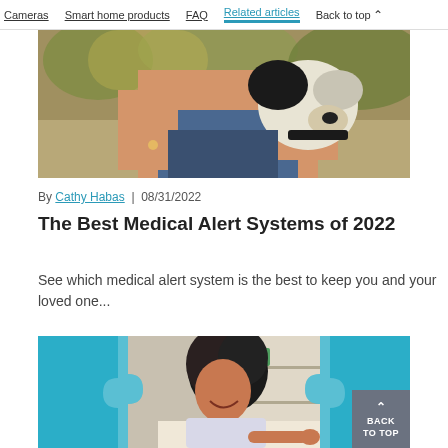Cameras | Smart home products | FAQ | Related articles | Back to top
[Figure (photo): Person hugging a black and white dog outdoors with trees in background]
By Cathy Habas | 08/31/2022
The Best Medical Alert Systems of 2022
See which medical alert system is the best to keep you and your loved one...
[Figure (photo): Woman smiling in a kitchen, teal puzzle piece overlay on left and right sides, back to top button in bottom right]